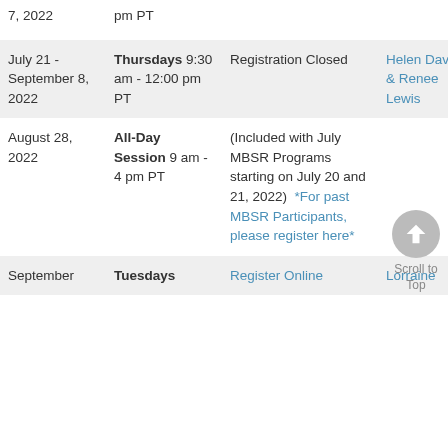| Date | Day/Time | Registration | Instructor | Format |
| --- | --- | --- | --- | --- |
| 7, 2022 | pm PT |  |  |  |
| July 21 - September 8, 2022 | Thursdays 9:30 am - 12:00 pm PT | Registration Closed | Helen Davis & Renee Lewis | Online |
| August 28, 2022 | All-Day Session 9 am - 4 pm PT | (Included with July MBSR Programs starting on July 20 and 21, 2022)  *For past MBSR Participants, please register here* |  | Online |
| September | Tuesdays | Register Online | Lorraine | Online |